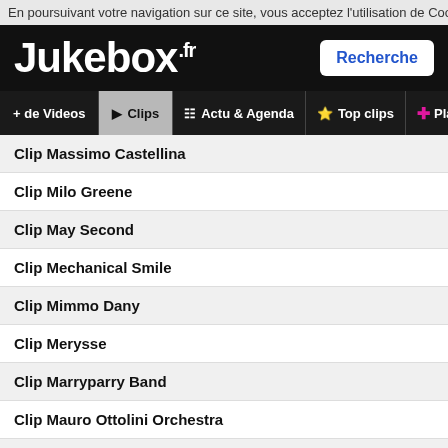En poursuivant votre navigation sur ce site, vous acceptez l'utilisation de Cookies po
Jukebox.fr
Recherche
+ de Videos
Clips
Actu & Agenda
Top clips
Playlist
Clip Massimo Castellina
Clip Milo Greene
Clip May Second
Clip Mechanical Smile
Clip Mimmo Dany
Clip Merysse
Clip Marryparry Band
Clip Mauro Ottolini Orchestra
Clip Maleha
Clip Maryz
Clip Michele Henderson